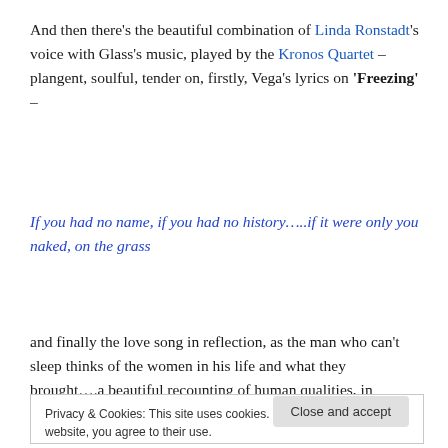And then there's the beautiful combination of Linda Ronstadt's voice with Glass's music, played by the Kronos Quartet – plangent, soulful, tender on, firstly, Vega's lyrics on 'Freezing' –
If you had no name, if you had no history…..if it were only you naked, on the grass
and finally the love song in reflection, as the man who can't sleep thinks of the women in his life and what they brought….a beautiful recounting of human qualities, in
Privacy & Cookies: This site uses cookies. By continuing to use this website, you agree to their use.
To find out more, including how to control cookies, see here: Cookie Policy